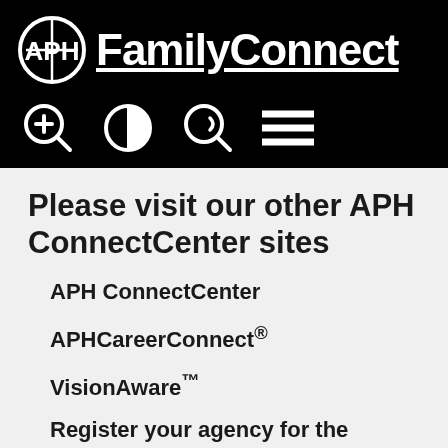APH FamilyConnect
Please visit our other APH ConnectCenter sites
APH ConnectCenter
APHCareerConnect®
VisionAware™
Register your agency for the